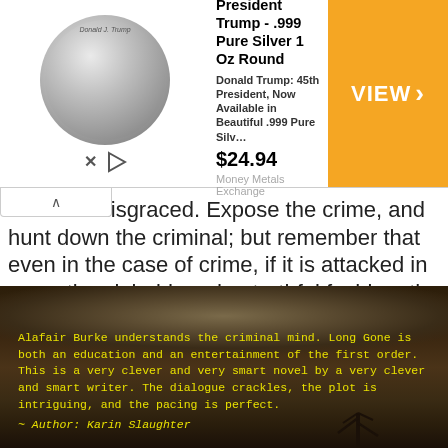[Figure (screenshot): Advertisement for President Trump .999 Pure Silver 1 Oz Round coin, priced at $24.94, with VIEW button. From Money Metals Exchange.]
n he has disgraced. Expose the crime, and hunt down the criminal; but remember that even in the case of crime, if it is attacked in sensational, lurid, and untruthful fashion, the attack may do more damage to the public mind than the crime itself. — Theodore Roosevelt
[Figure (photo): Dark moody outdoor scene with dark sky and trees, containing yellow text quote by Author Karin Slaughter about the book Long Gone by Alafair Burke.]